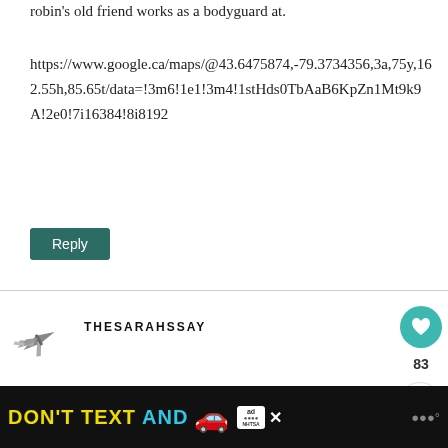robin's old friend works as a bodyguard at.
https://www.google.ca/maps/@43.6475874,-79.3734356,3a,75y,162.55h,85.65t/data=!3m6!1e1!3m4!1stHds0TbAaB6KpZn1Mt9k9A!2e0!7i16384!8i8192
Reply
[Figure (illustration): Small aircraft/jet illustration used as avatar]
THESARAHSSAY
March 8, 2019 at 11:40 AM
I talked to people filming at Holy Cross
[Figure (infographic): Advertisement banner: DON'T TEXT AND [car emoji] with ad badge and NHTSA logo, close button and weather app icon]